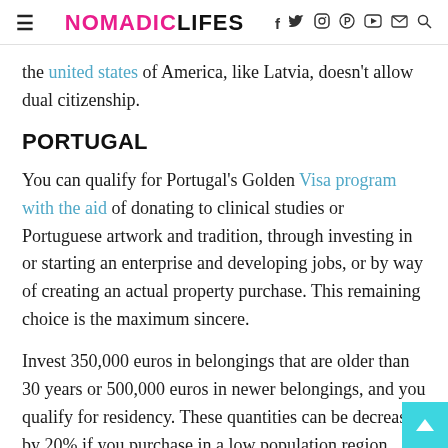NOMADICLIFES
the united states of America, like Latvia, doesn't allow dual citizenship.
PORTUGAL
You can qualify for Portugal's Golden Visa program with the aid of donating to clinical studies or Portuguese artwork and tradition, through investing in or starting an enterprise and developing jobs, or by way of creating an actual property purchase. This remaining choice is the maximum sincere.
Invest 350,000 euros in belongings that are older than 30 years or 500,000 euros in newer belongings, and you qualify for residency. These quantities can be decreased by 20% if you purchase in a low population region (successfully everywhere apart from alongside the coast).